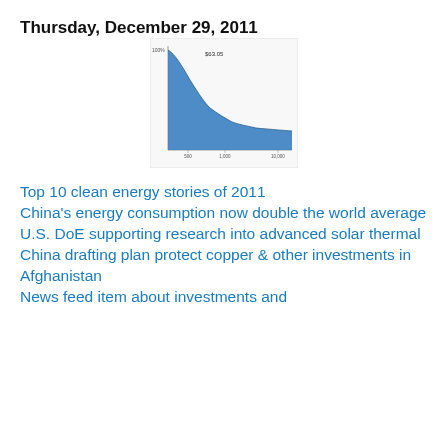Thursday, December 29, 2011
[Figure (area-chart): Area chart showing a steep declining curve from upper left to lower right, filled with blue. X-axis shows values around 500, 1,000, 10,000. Y-axis label appears to show 100% at top. A label reads $63.05 near the top right area of the chart.]
Top 10 clean energy stories of 2011
China's energy consumption now double the world average
U.S. DoE supporting research into advanced solar thermal
China drafting plan protect copper & other investments in Afghanistan
News feed item continuing below (partially visible)